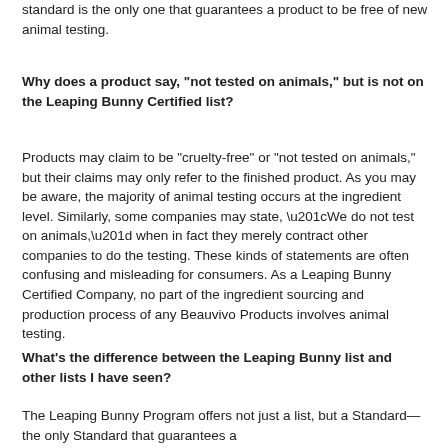standard is the only one that guarantees a product to be free of new animal testing.
Why does a product say, "not tested on animals," but is not on the Leaping Bunny Certified list?
Products may claim to be "cruelty-free" or "not tested on animals," but their claims may only refer to the finished product. As you may be aware, the majority of animal testing occurs at the ingredient level. Similarly, some companies may state, “We do not test on animals,” when in fact they merely contract other companies to do the testing. These kinds of statements are often confusing and misleading for consumers. As a Leaping Bunny Certified Company, no part of the ingredient sourcing and production process of any Beauvivo Products involves animal testing.
What's the difference between the Leaping Bunny list and other lists I have seen?
The Leaping Bunny Program offers not just a list, but a Standard—the only Standard that guarantees a